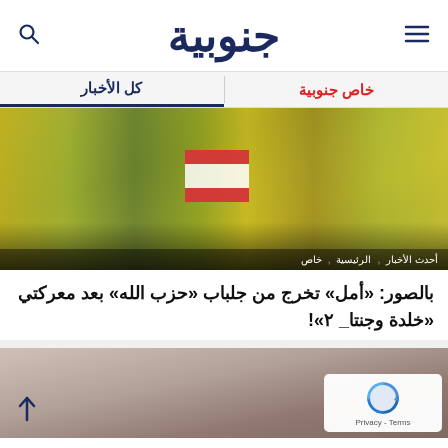جنوبية
كل الأخبار
خاص جنوبية
[Figure (photo): Crowd scene with yellow and green Hezbollah flags and Lebanese flag being waved outdoors near water]
أحدث الأخبار, الرئيسية, خاص
بالصور: «أمل» تخرج من جلباب «حزب الله» بعد معركتي «خلدة وجنتا_ ٢»!
[Figure (photo): Partial view of a person, second article image]